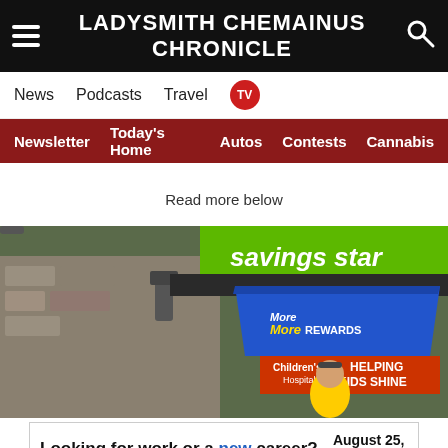LADYSMITH CHEMAINUS CHRONICLE
News  Podcasts  Travel  TV
Newsletter  Today's Home  Autos  Contests  Cannabis
Read more below
[Figure (photo): Person in yellow jacket standing under a blue More Rewards tent canopy in front of a store with green banner reading 'savings star...' and orange banner reading 'HELPING KIDS SHINE'. A Children's Hospital logo is visible.]
Looking for work or a new career? August 25, 11AM - 3PM Featuring 25+ Exhibitors and Growing! CLICK HERE